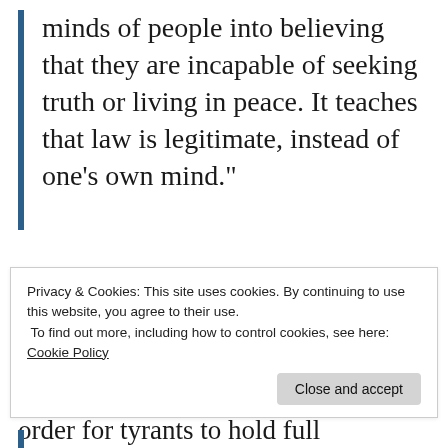minds of people into believing that they are incapable of seeking truth or living in peace. It teaches that law is legitimate, instead of one’s own mind.”
Another important element in understanding how evil implements an operation of mind control is the ‘divide and conquer’ technique. In order for tyrants to hold full unquestioning sway over a society, an enemy must be created
Privacy & Cookies: This site uses cookies. By continuing to use this website, you agree to their use.
To find out more, including how to control cookies, see here: Cookie Policy